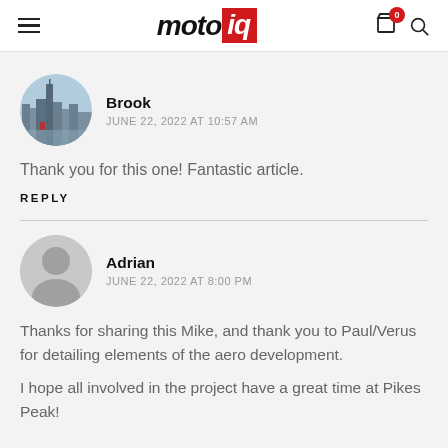motoiq
Brook
JUNE 22, 2022 AT 10:57 AM
Thank you for this one! Fantastic article.
REPLY
Adrian
JUNE 22, 2022 AT 8:00 PM
Thanks for sharing this Mike, and thank you to Paul/Verus for detailing elements of the aero development.
I hope all involved in the project have a great time at Pikes Peak!